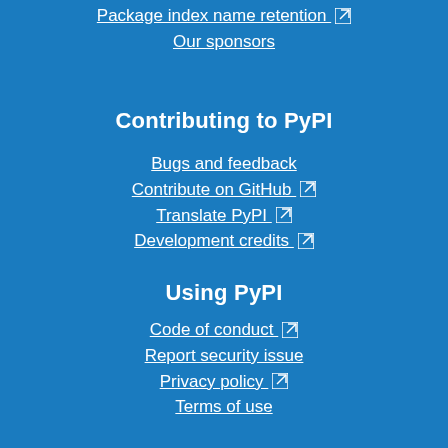Package index name retention ↗
Our sponsors
Contributing to PyPI
Bugs and feedback
Contribute on GitHub ↗
Translate PyPI ↗
Development credits ↗
Using PyPI
Code of conduct ↗
Report security issue
Privacy policy ↗
Terms of use